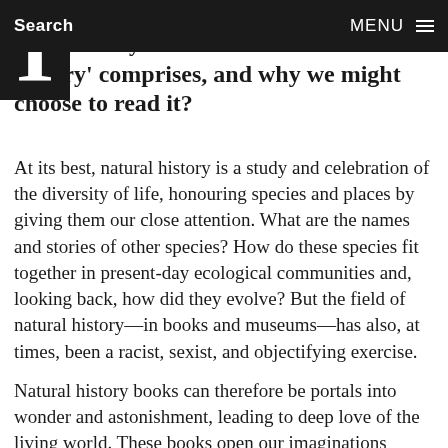Search    MENU
Thank you for selecting five natural history books to recommend. To start
history' comprises, and why we might choose to read it?
At its best, natural history is a study and celebration of the diversity of life, honouring species and places by giving them our close attention. What are the names and stories of other species? How do these species fit together in present-day ecological communities and, looking back, how did they evolve? But the field of natural history—in books and museums—has also, at times, been a racist, sexist, and objectifying exercise.
Natural history books can therefore be portals into wonder and astonishment, leading to deep love of the living world. These books open our imaginations